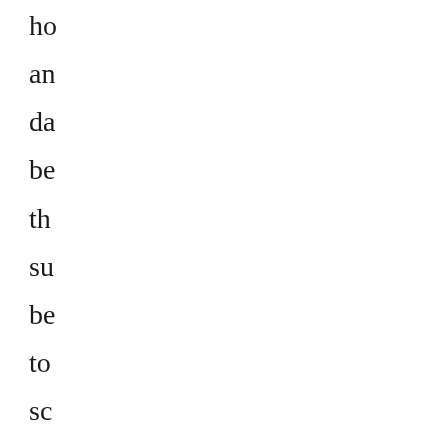ho
an
da
be
th
su
be
to
sc
In
a
fe
sh
wo
mo
m
by
co
br